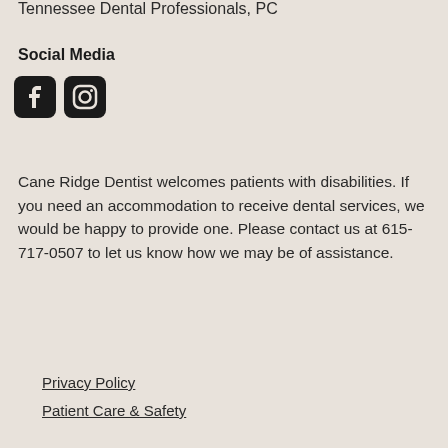Tennessee Dental Professionals, PC
Social Media
[Figure (illustration): Facebook and Instagram social media icons]
Cane Ridge Dentist welcomes patients with disabilities. If you need an accommodation to receive dental services, we would be happy to provide one. Please contact us at 615-717-0507 to let us know how we may be of assistance.
Privacy Policy
Patient Care & Safety